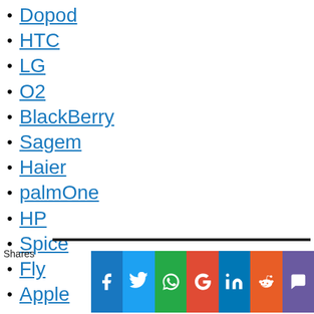Dopod
HTC
LG
O2
BlackBerry
Sagem
Haier
palmOne
HP
Spice
Fly
Apple
Shares [social sharing buttons: Facebook, Twitter, WhatsApp, Google+, LinkedIn, Reddit, Miarroba]